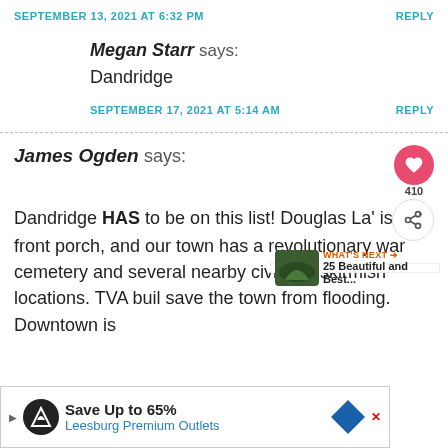SEPTEMBER 13, 2021 AT 6:32 PM
REPLY
Megan Starr says:
Dandridge
SEPTEMBER 17, 2021 AT 5:14 AM
REPLY
James Ogden says:
Dandridge HAS to be on this list! Douglas La' is it's front porch, and our town has a revolutionary war cemetery and several nearby civil war skirmish locations. TVA buil... save the town from flooding. Downtown is
WHAT'S NEXT → 25 Beautiful and Best...
Save Up to 65% Leesburg Premium Outlets